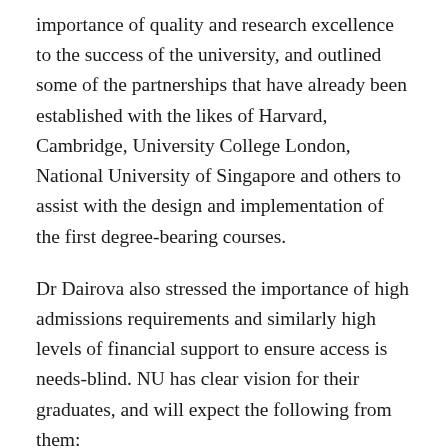importance of quality and research excellence to the success of the university, and outlined some of the partnerships that have already been established with the likes of Harvard, Cambridge, University College London, National University of Singapore and others to assist with the design and implementation of the first degree-bearing courses.
Dr Dairova also stressed the importance of high admissions requirements and similarly high levels of financial support to ensure access is needs-blind. NU has clear vision for their graduates, and will expect the following from them:
high quality professional knowledge;